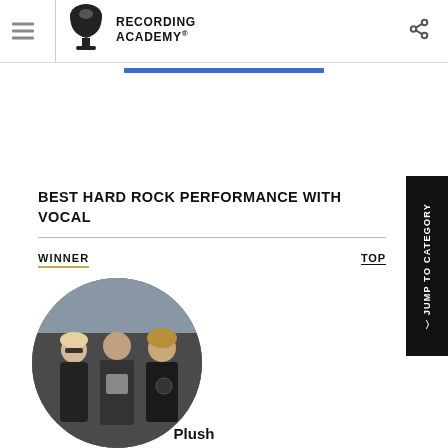Recording Academy — Grammy Awards
BEST HARD ROCK PERFORMANCE WITH VOCAL
WINNER
TOP
[Figure (photo): Circular photo of the band Plush — three members in dark clothing standing in front of a vehicle]
Plush